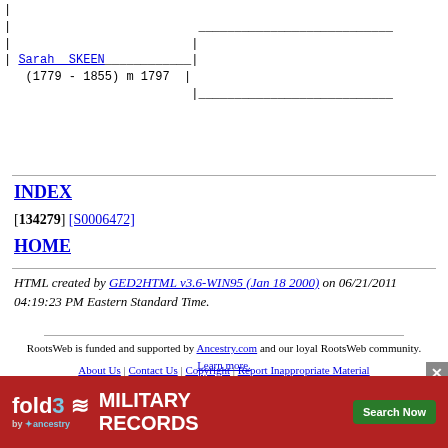[Figure (other): Genealogy pedigree tree diagram showing Sarah SKEEN (1779-1855) m 1797 with connecting lines]
INDEX
[134279] [S0006472]
HOME
HTML created by GED2HTML v3.6-WIN95 (Jan 18 2000) on 06/21/2011 04:19:23 PM Eastern Standard Time.
RootsWeb is funded and supported by Ancestry.com and our loyal RootsWeb community. Learn more.
About Us | Contact Us | Copyright | Report Inappropriate Material
[Figure (infographic): Fold3 Military Records advertisement banner with search button]